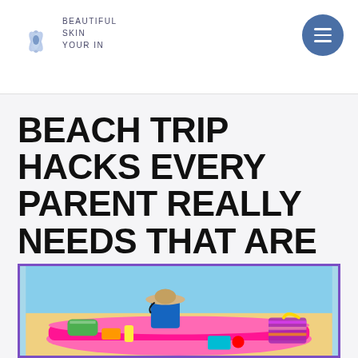BEAUTIFUL SKIN YOUR IN
BEACH TRIP HACKS EVERY PARENT REALLY NEEDS THAT ARE PURE GENIUS
[Figure (photo): Colorful beach scene with a bright pink inflatable float/tray on a yellow sand surface with a light blue background. Items on the float include a blue bucket, a straw hat, rolled towels, and a striped bag. Cheerful summery beach party setup.]